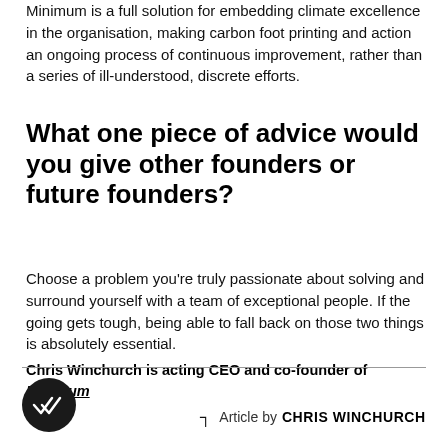Minimum is a full solution for embedding climate excellence in the organisation, making carbon foot printing and action an ongoing process of continuous improvement, rather than a series of ill-understood, discrete efforts.
What one piece of advice would you give other founders or future founders?
Choose a problem you're truly passionate about solving and surround yourself with a team of exceptional people. If the going gets tough, being able to fall back on those two things is absolutely essential.
Chris Winchurch is acting CEO and co-founder of Minimum
Article by CHRIS WINCHURCH